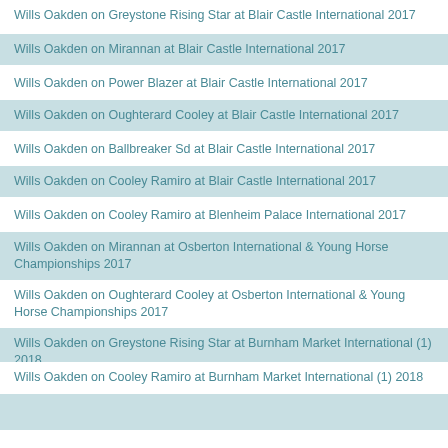Wills Oakden on Greystone Rising Star at Blair Castle International 2017
Wills Oakden on Mirannan at Blair Castle International 2017
Wills Oakden on Power Blazer at Blair Castle International 2017
Wills Oakden on Oughterard Cooley at Blair Castle International 2017
Wills Oakden on Ballbreaker Sd at Blair Castle International 2017
Wills Oakden on Cooley Ramiro at Blair Castle International 2017
Wills Oakden on Cooley Ramiro at Blenheim Palace International 2017
Wills Oakden on Mirannan at Osberton International & Young Horse Championships 2017
Wills Oakden on Oughterard Cooley at Osberton International & Young Horse Championships 2017
Wills Oakden on Greystone Rising Star at Burnham Market International (1) 2018
Wills Oakden on Cooley Ramiro at Burnham Market International (1) 2018
Wills Oakden on Oughterard Sky Boy at Burnham Market International (1) 2018
Wills Oakden on Oughterard Cooley at Richmond (1) 2018
Wills Oakden on Hillary Vd Bisschop at Richmond (1) 2018
Wills Oakden on Ballbreaker Sd at Richmond (1) 2018